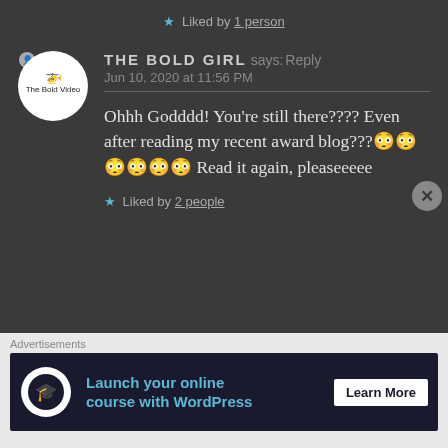★ Liked by 1 person
THE BOLD GIRL says: Reply
Jun 10, 2020 at 11:56 PM
Ohhh Godddd! You're still there???? Even after reading my recent award blog???😳😳😳😳😳😳 Read it again, pleaseeeee
★ Liked by 2 people
Advertisements
Launch your online course with WordPress   Learn More